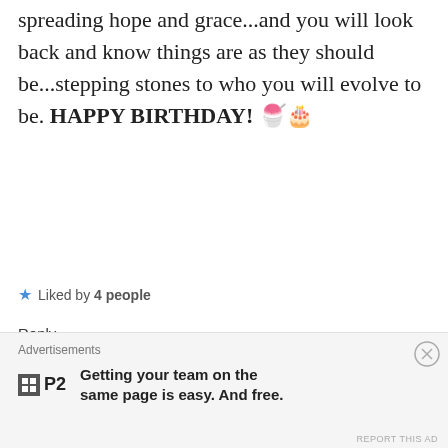spreading hope and grace...and you will look back and know things are as they should be...stepping stones to who you will evolve to be. HAPPY BIRTHDAY! 🍧🎂
★ Liked by 4 people
Reply
beautybeyondbones says: August 6, 2018 at 6:24 pm
Thank you so much Jenn! What a beautiful note! Hugs and love xox
Advertisements
Getting your team on the same page is easy. And free.